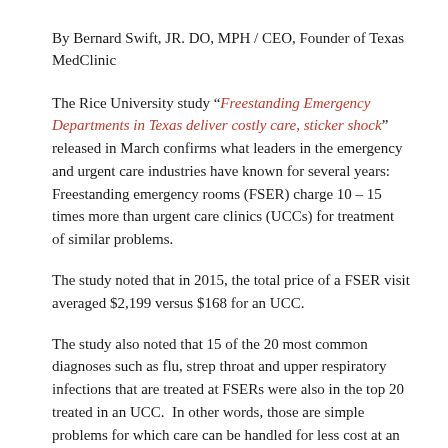By Bernard Swift, JR. DO, MPH / CEO, Founder of Texas MedClinic
The Rice University study “Freestanding Emergency Departments in Texas deliver costly care, sticker shock” released in March confirms what leaders in the emergency and urgent care industries have known for several years: Freestanding emergency rooms (FSER) charge 10 – 15 times more than urgent care clinics (UCCs) for treatment of similar problems.
The study noted that in 2015, the total price of a FSER visit averaged $2,199 versus $168 for an UCC.
The study also noted that 15 of the 20 most common diagnoses such as flu, strep throat and upper respiratory infections that are treated at FSERs were also in the top 20 treated in an UCC.  In other words, those are simple problems for which care can be handled for less cost at an